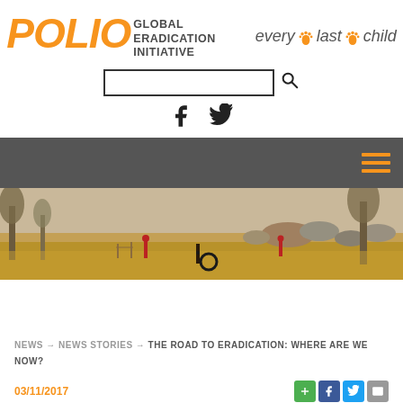[Figure (logo): Polio Global Eradication Initiative logo with orange POLIO text and 'every last child' tagline]
[Figure (photo): Children playing in a dry, rocky African landscape with trees and sparse vegetation. One child is rolling a tire.]
NEWS → NEWS STORIES → THE ROAD TO ERADICATION: WHERE ARE WE NOW?
03/11/2017